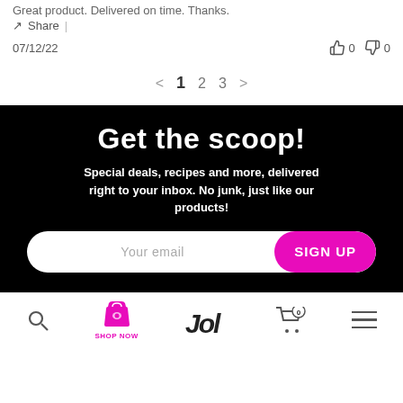Great product. Delivered on time. Thanks.
Share
07/12/22  👍 0  👎 0
< 1 2 3 >
Get the scoop!
Special deals, recipes and more, delivered right to your inbox. No junk, just like our products!
Your email  SIGN UP
Search  SHOP NOW  [logo]  Cart 0  Menu